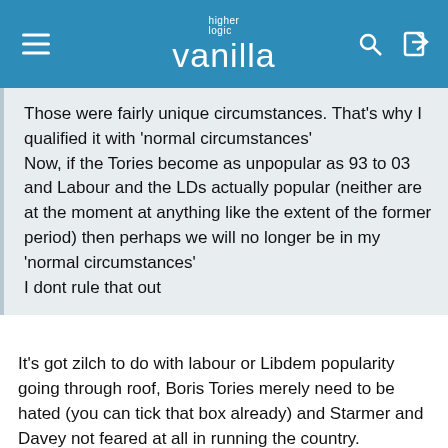higher logic vanilla
Those were fairly unique circumstances. That's why I qualified it with 'normal circumstances' Now, if the Tories become as unpopular as 93 to 03 and Labour and the LDs actually popular (neither are at the moment at anything like the extent of the former period) then perhaps we will no longer be in my 'normal circumstances' I dont rule that out
It's got zilch to do with labour or Libdem popularity going through roof, Boris Tories merely need to be hated (you can tick that box already) and Starmer and Davey not feared at all in running the country.
I wasn't sure about Starmer at first, but I think he could be quite good when PM actually, he's had a good few weeks.